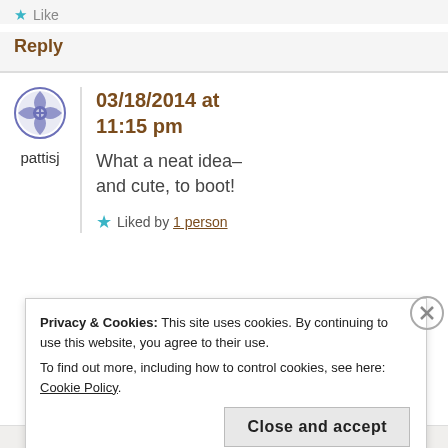Like
Reply
[Figure (logo): WordPress user avatar for pattisj — circular icon with blue geometric interlocking shapes]
pattisj
03/18/2014 at 11:15 pm
What a neat idea– and cute, to boot!
Liked by 1 person
Privacy & Cookies: This site uses cookies. By continuing to use this website, you agree to their use.
To find out more, including how to control cookies, see here: Cookie Policy.